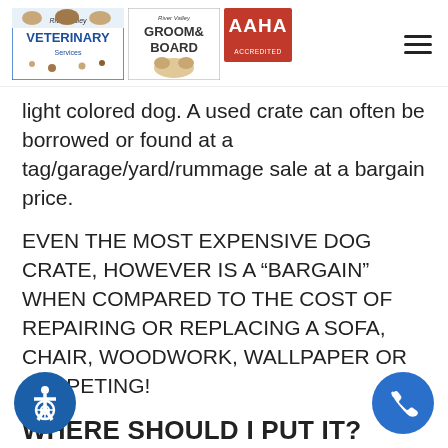River Valley Veterinary Services | River Valley Groom & Board | AAHA Accredited
light colored dog. A used crate can often be borrowed or found at a tag/garage/yard/rummage sale at a bargain price.
EVEN THE MOST EXPENSIVE DOG CRATE, HOWEVER IS A “BARGAIN” WHEN COMPARED TO THE COST OF REPAIRING OR REPLACING A SOFA, CHAIR, WOODWORK, WALLPAPER OR CARPETING!
WHERE SHOULD I PUT IT?
Since one of the main reasons of using a crate is